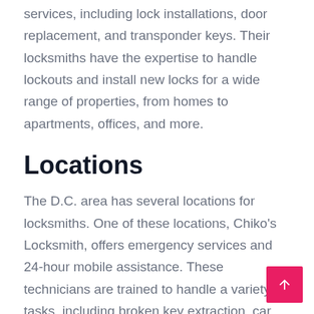services, including lock installations, door replacement, and transponder keys. Their locksmiths have the expertise to handle lockouts and install new locks for a wide range of properties, from homes to apartments, offices, and more.
Locations
The D.C. area has several locations for locksmiths. One of these locations, Chiko's Locksmith, offers emergency services and 24-hour mobile assistance. These technicians are trained to handle a variety of tasks, including broken key extraction, car lockouts, and file cabinet lock repairs. They are also experienced in key programming and ignition switch repairs. You can even request an emergency locksmith visit online. In Washington, D.C., there are numerous locksmith companies available, so if you need